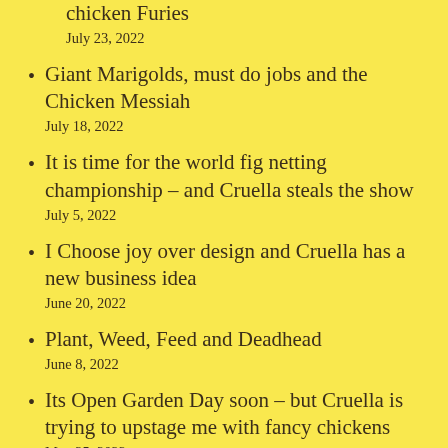chicken Furies
July 23, 2022
Giant Marigolds, must do jobs and the Chicken Messiah
July 18, 2022
It is time for the world fig netting championship – and Cruella steals the show
July 5, 2022
I Choose joy over design and Cruella has a new business idea
June 20, 2022
Plant, Weed, Feed and Deadhead
June 8, 2022
Its Open Garden Day soon – but Cruella is trying to upstage me with fancy chickens
May 25, 2022